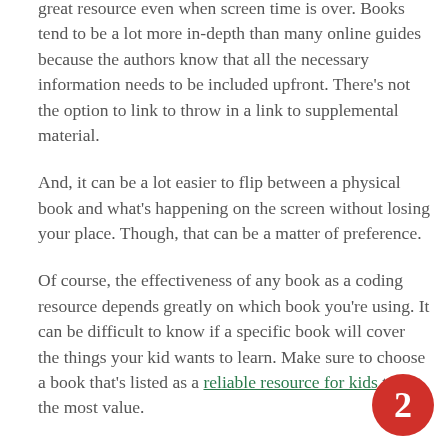great resource even when screen time is over. Books tend to be a lot more in-depth than many online guides because the authors know that all the necessary information needs to be included upfront. There's not the option to link to throw in a link to supplemental material.
And, it can be a lot easier to flip between a physical book and what's happening on the screen without losing your place. Though, that can be a matter of preference.
Of course, the effectiveness of any book as a coding resource depends greatly on which book you're using. It can be difficult to know if a specific book will cover the things your kid wants to learn. Make sure to choose a book that's listed as a reliable resource for kids to get the most value.
CONCLUSION
No matter where your kid ends up on their coding journey, there